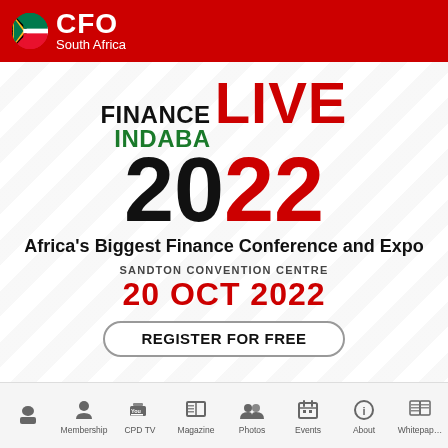CFO South Africa
FINANCE INDABA LIVE 2022
Africa's Biggest Finance Conference and Expo
SANDTON CONVENTION CENTRE
20 OCT 2022
REGISTER FOR FREE
Home Membership CPD TV Magazine Photos Events About Whitepaper